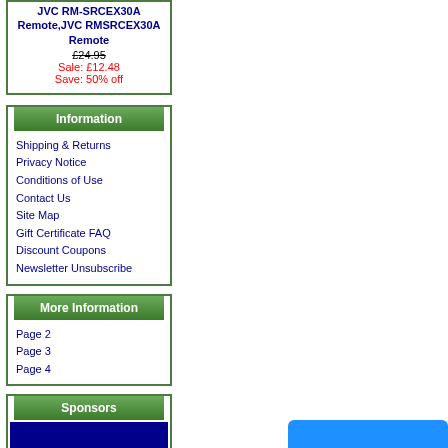JVC RM-SRCEX30A Remote, JVC RMSRCEX30A Remote
£24.95
Sale: £12.48
Save: 50% off
Information
Shipping & Returns
Privacy Notice
Conditions of Use
Contact Us
Site Map
Gift Certificate FAQ
Discount Coupons
Newsletter Unsubscribe
More Information
Page 2
Page 3
Page 4
Sponsors
[Figure (other): Dark blue sponsor advertisement block]
[Figure (other): Blue button at bottom right corner]